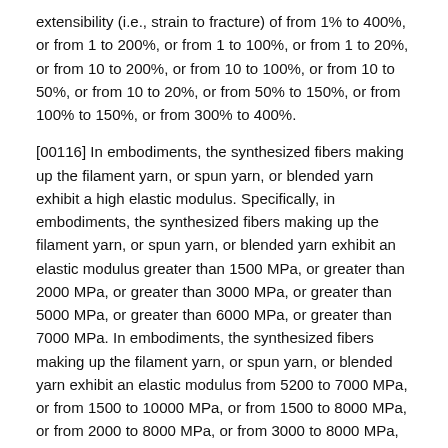extensibility (i.e., strain to fracture) of from 1% to 400%, or from 1 to 200%, or from 1 to 100%, or from 1 to 20%, or from 10 to 200%, or from 10 to 100%, or from 10 to 50%, or from 10 to 20%, or from 50% to 150%, or from 100% to 150%, or from 300% to 400%.
[00116] In embodiments, the synthesized fibers making up the filament yarn, or spun yarn, or blended yarn exhibit a high elastic modulus. Specifically, in embodiments, the synthesized fibers making up the filament yarn, or spun yarn, or blended yarn exhibit an elastic modulus greater than 1500 MPa, or greater than 2000 MPa, or greater than 3000 MPa, or greater than 5000 MPa, or greater than 6000 MPa, or greater than 7000 MPa. In embodiments, the synthesized fibers making up the filament yarn, or spun yarn, or blended yarn exhibit an elastic modulus from 5200 to 7000 MPa, or from 1500 to 10000 MPa, or from 1500 to 8000 MPa, or from 2000 to 8000 MPa, or from 3000 to 8000 MPa, or from 5000 to 8000 MPa, or from 5000 to 6000 MPa, or from 6000 to 8000 MPa. In embodiments, the synthesized fibers making up the filament yarn, or spun yarn, or blended yarn exhibit an elastic modulus greater than 100 cN/tex, or greater than 200 cN/tex, or greater than